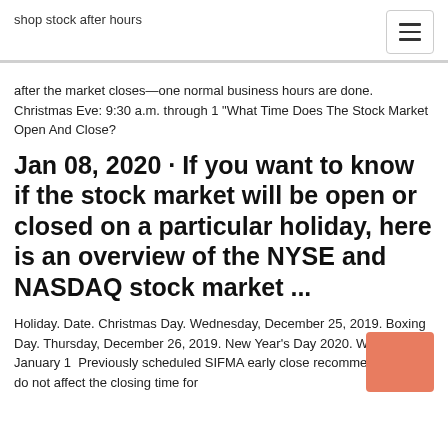shop stock after hours
after the market closes—one normal business hours are done. Christmas Eve: 9:30 a.m. through 1 "What Time Does The Stock Market Open And Close?
Jan 08, 2020 · If you want to know if the stock market will be open or closed on a particular holiday, here is an overview of the NYSE and NASDAQ stock market ...
Holiday. Date. Christmas Day. Wednesday, December 25, 2019. Boxing Day. Thursday, December 26, 2019. New Year's Day 2020. Wednesday, January 1  Previously scheduled SIFMA early close recommendations do not affect the closing time for